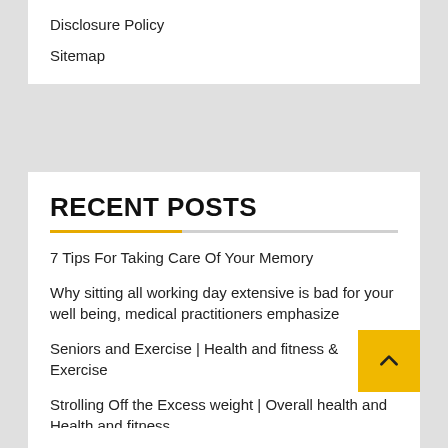Disclosure Policy
Sitemap
RECENT POSTS
7 Tips For Taking Care Of Your Memory
Why sitting all working day extensive is bad for your well being, medical practitioners emphasize
Seniors and Exercise | Health and fitness & Exercise
Strolling Off the Excess weight | Overall health and Health and fitness
Amazon helps make additional health care inroads with $3.9B A person Health care offer